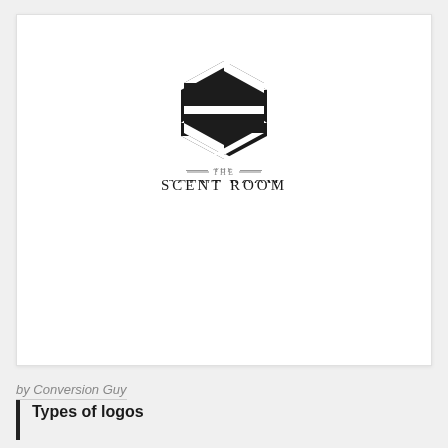[Figure (logo): The Scent Room logo: a hexagonal badge shape with diagonal stripes forming an S shape, below which is the text '— THE —' and 'SCENT ROOM' in serif lettering]
by Conversion Guy
Types of logos